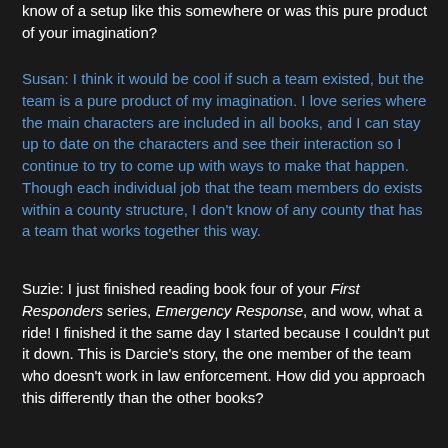know of a setup like this somewhere or was this pure product of your imagination?
Susan: I think it would be cool if such a team existed, but the team is a pure product of my imagination. I love series where the main characters are included in all books, and I can stay up to date on the characters and see their interaction so I continue to try to come up with ways to make that happen. Though each individual job that the team members do exists within a county structure, I don't know of any county that has a team that works together this way.
Suzie: I just finished reading book four of your First Responders series, Emergency Response, and wow, what a ride! I finished it the same day I started because I couldn't put it down. This is Darcie's story, the one member of the team who doesn't work in law enforcement. How did you approach this differently than the other books?